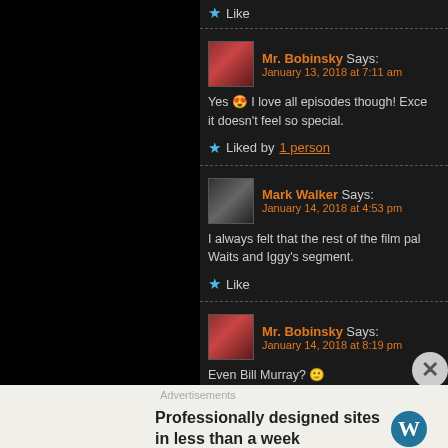Like
Mr. Bobinsky Says: January 13, 2018 at 7:11 am
Yes 😍 I love all episodes though! Exce... it doesn't feel so special.
Liked by 1 person
Mark Walker Says: January 14, 2018 at 4:53 pm
I always felt that the rest of the film pal... Waits and Iggy's segment.
Like
Mr. Bobinsky Says: January 14, 2018 at 8:19 pm
Even Bill Murray? 🙂
Advertisements
Professionally designed sites in less than a week